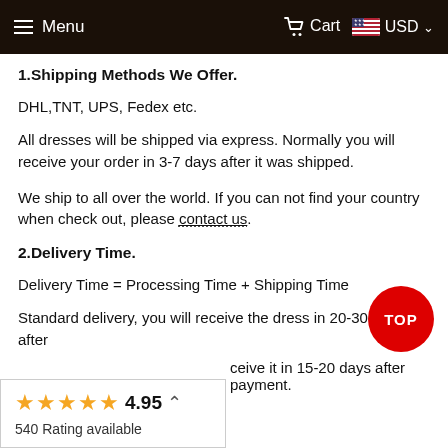Menu   Cart   USD
1.Shipping Methods We Offer.
DHL,TNT, UPS, Fedex etc.
All dresses will be shipped via express. Normally you will receive your order in 3-7 days after it was shipped.
We ship to all over the world. If you can not find your country when check out, please contact us.
2.Delivery Time.
Delivery Time = Processing Time + Shipping Time
Standard delivery, you will receive the dress in 20-30 days after
ceive it in 15-20 days after payment.
★★★★★ 4.95  540 Rating available